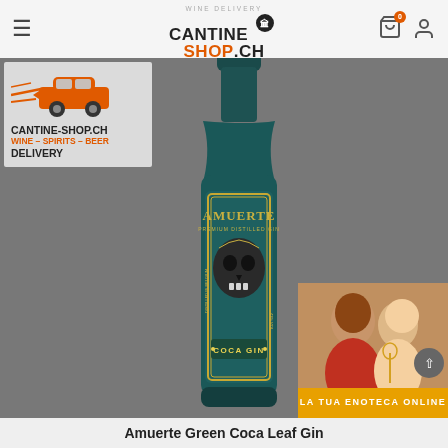CANTINE SHOP.CH — Wine Delivery
[Figure (logo): Cantine-Shop.ch delivery logo with car and text CANTINE-SHOP.CH WINE – SPIRITS – BEER DELIVERY]
[Figure (photo): Amuerte Green Coca Leaf Gin bottle — teal/dark green bottle with ornate skull label reading AMUERTE PREMIUM DISTILLED GIN COCA GIN]
[Figure (photo): Right side overlay advertisement showing two people and banner text LA TUA ENOTECA ONLINE]
Amuerte Green Coca Leaf Gin